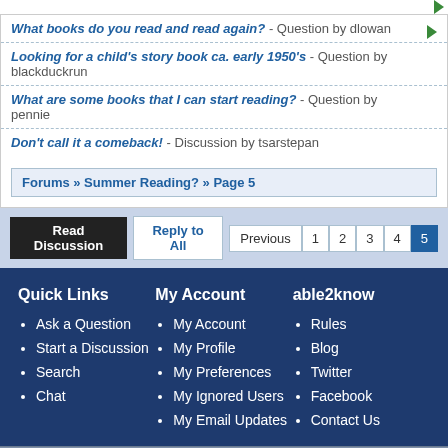What books do you read and read again? - Question by dlowan
Looking for a child's story book ca. early 1950's - Question by blackduckrun
What are some books that I can start reading? - Question by pennie
Don't call it a comeback! - Discussion by tsarstepan
Forums » Summer Reading? » Page 5
Read Discussion   Reply to All   Previous 1 2 3 4 5
Quick Links
Ask a Question
Start a Discussion
Search
Chat
My Account
My Account
My Profile
My Preferences
My Ignored Users
My Email Updates
able2know
Rules
Blog
Twitter
Facebook
Contact Us
Copyright © 2022 MadLab, LLC :: Terms of Service :: Privacy Policy :: Page generated in 0.03 seconds on 08/24/2022 at 06:17:12